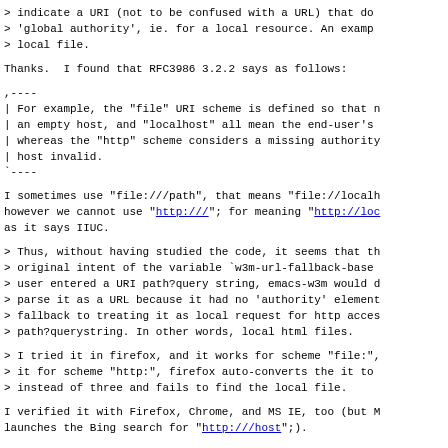> indicate a URI (not to be confused with a URL) that do
> 'global authority', ie. for a local resource. An examp
> local file.
Thanks.  I found that RFC3986 3.2.2 says as follows:
,----
| For example, the "file" URI scheme is defined so that
| an empty host, and "localhost" all mean the end-user's
| whereas the "http" scheme considers a missing authority
| host invalid.
`----
I sometimes use "file:///path", that means "file://localh
however we cannot use "http:///"; for meaning "http://lo
as it says IIUC.
> Thus, without having studied the code, it seems that t
> original intent of the variable `w3m-url-fallback-base
> user entered a URI path?query string, emacs-w3m would
> parse it as a URL because it had no 'authority' element
> fallback to treating it as local request for http acce
> path?querystring. In other words, local html files.
> I tried it in firefox, and it works for scheme "file:",
> it for scheme "http:", firefox auto-converts the it to
> instead of three and fails to find the local file.
I verified it with Firefox, Chrome, and MS IE, too (but M
launches the Bing search for "http:///host";).